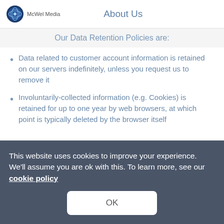McWel Media — About Us
Our Data Retention Policies are:
Data related to customer account information is retained on our servers indefinitely, unless you request us to remove it
Involuntarily-collected information (e.g. Cookies) is retained for up to one year by web browsers, at which point is typically deleted by the browser itself
This website uses cookies to improve your experience. We'll assume you are ok with this. To learn more, see our cookie policy
OK